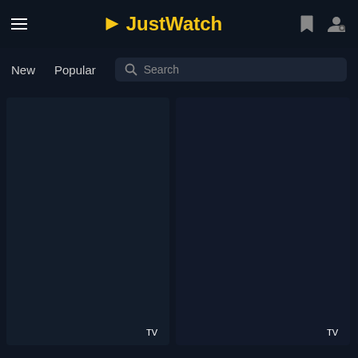JustWatch
New
Popular
Search
[Figure (screenshot): Dark TV show or movie card placeholder 1 with TV label]
[Figure (screenshot): Dark TV show or movie card placeholder 2 with TV label]
[Figure (screenshot): Dark TV show or movie card placeholder 3 (partially visible)]